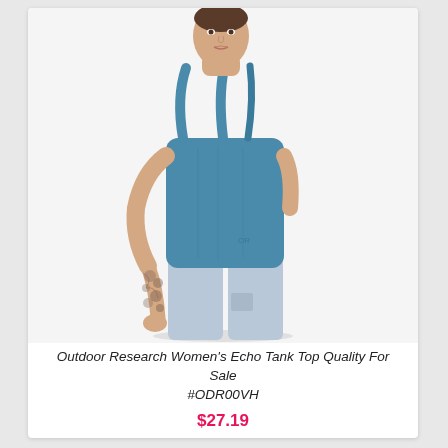[Figure (photo): A woman wearing a blue athletic tank top (Outdoor Research Women's Echo Tank Top) and light blue leggings, posing against a white background. She has tattoos on her right forearm and very short hair.]
Outdoor Research Women's Echo Tank Top Quality For Sale #ODR00VH
$27.19